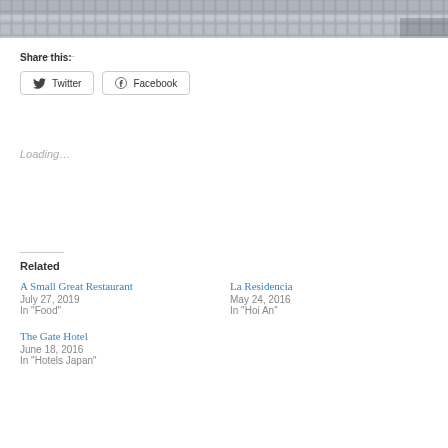[Figure (photo): Top portion of a photo showing a mosaic or cobblestone pattern in grey tones, partially cropped]
Share this:
Twitter
Facebook
Loading...
Related
A Small Great Restaurant
July 27, 2019
In "Food"
La Residencia
May 24, 2016
In "Hoi An"
The Gate Hotel
June 18, 2016
In "Hotels Japan"